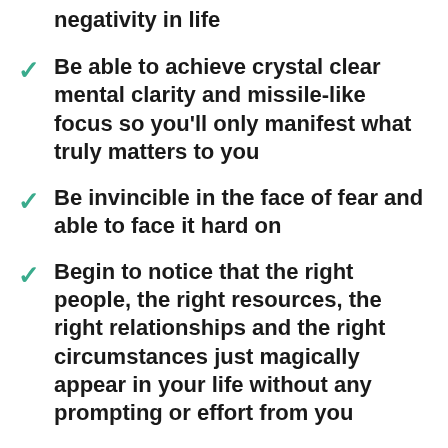negativity in life
Be able to achieve crystal clear mental clarity and missile-like focus so you'll only manifest what truly matters to you
Be invincible in the face of fear and able to face it hard on
Begin to notice that the right people, the right resources, the right relationships and the right circumstances just magically appear in your life without any prompting or effort from you
learn how to manifest...